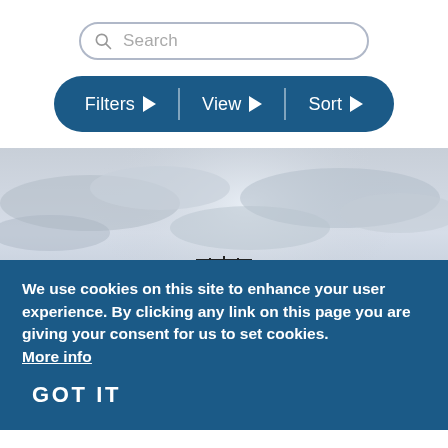[Figure (screenshot): Search bar with magnifying glass icon and placeholder text 'Search', with rounded rectangle border]
[Figure (screenshot): Navigation filter bar with dark blue background and three buttons: Filters, View, Sort, each with a right-pointing triangle arrow, separated by vertical lines]
[Figure (photo): Photograph of an industrial water tower silhouetted against a cloudy sky]
We use cookies on this site to enhance your user experience. By clicking any link on this page you are giving your consent for us to set cookies. More info
GOT IT